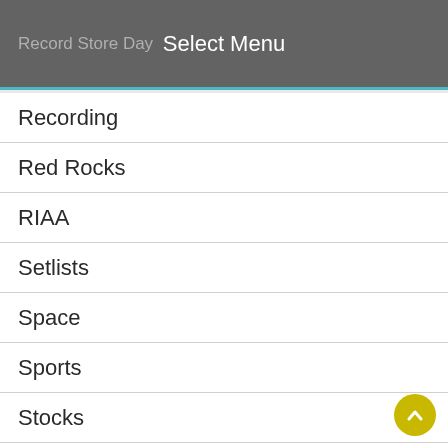Select Menu
Record Store Day
Recording
Red Rocks
RIAA
Setlists
Space
Sports
Stocks
Tech
Top Stories
Tour Dates
Trailers